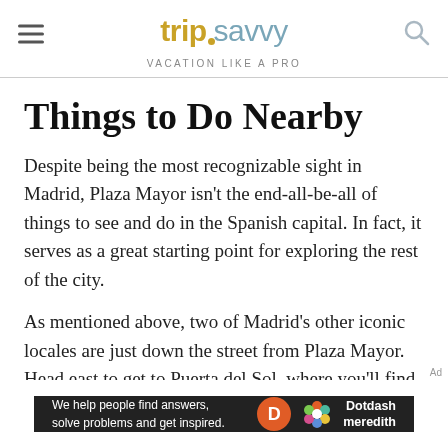tripsavvy VACATION LIKE A PRO
Things to Do Nearby
Despite being the most recognizable sight in Madrid, Plaza Mayor isn't the end-all-be-all of things to see and do in the Spanish capital. In fact, it serves as a great starting point for exploring the rest of the city.
As mentioned above, two of Madrid's other iconic locales are just down the street from Plaza Mayor. Head east to get to Puerta del Sol, where you'll find the
[Figure (infographic): Dotdash Meredith advertisement banner: 'We help people find answers, solve problems and get inspired.' with Dotdash Meredith logo on dark background.]